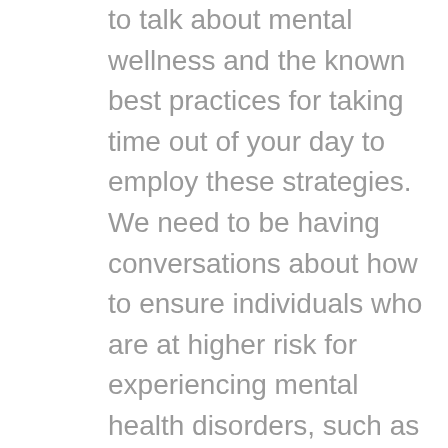to talk about mental wellness and the known best practices for taking time out of your day to employ these strategies. We need to be having conversations about how to ensure individuals who are at higher risk for experiencing mental health disorders, such as BIPOC and transgender youth, have access to the services they need. We need to talk about taking care of our communities and removing the stressors that cause mental health disorders. Let's promise to keep talking out loud about mental health and taking action to solve the complex problems that are in front of us. HCIF can be your partner in these conversations and we pledge to bring